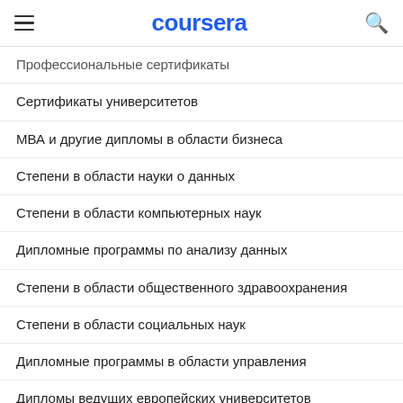coursera
Профессиональные сертификаты
Сертификаты университетов
МВА и другие дипломы в области бизнеса
Степени в области науки о данных
Степени в области компьютерных наук
Дипломные программы по анализу данных
Степени в области общественного здравоохранения
Степени в области социальных наук
Дипломные программы в области управления
Дипломы ведущих европейских университетов
Дипломы магистра
Степени бакалавра
Дипломы с карьерными путями, ориентированными на результат
Бакалаврские курсы